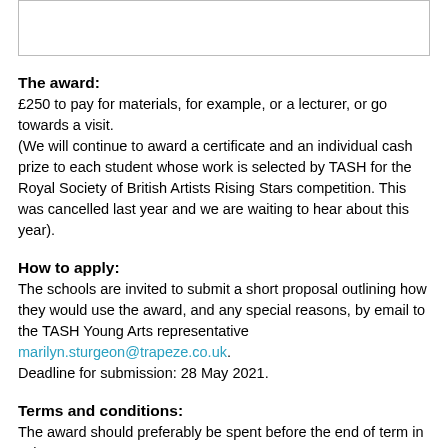[Figure (other): Empty white box with border at top of page]
The award:
£250 to pay for materials, for example, or a lecturer, or go towards a visit.
(We will continue to award a certificate and an individual cash prize to each student whose work is selected by TASH for the Royal Society of British Artists Rising Stars competition. This was cancelled last year and we are waiting to hear about this year).
How to apply:
The schools are invited to submit a short proposal outlining how they would use the award, and any special reasons, by email to the TASH Young Arts representative marilyn.sturgeon@trapeze.co.uk.
Deadline for submission: 28 May 2021.
Terms and conditions:
The award should preferably be spent before the end of term in July